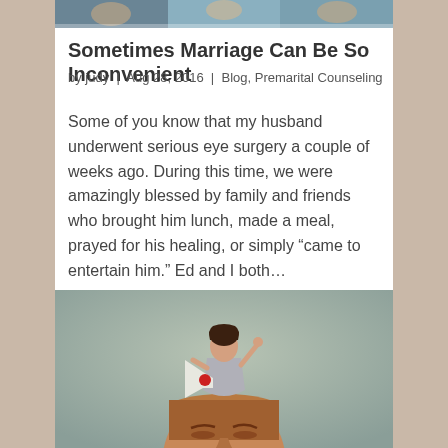[Figure (photo): Top portion of a photo showing people, partially cropped at the top of the page]
Sometimes Marriage Can Be So Inconvenient
by judy | Aug 28, 2016 | Blog, Premarital Counseling
Some of you know that my husband underwent serious eye surgery a couple of weeks ago. During this time, we were amazingly blessed by family and friends who brought him lunch, made a meal, prayed for his healing, or simply “came to entertain him.” Ed and I both…
[Figure (photo): A surreal composite image showing a woman standing on top of a man's open head (top of head opened like a lid), shouting into a megaphone with one arm raised. The man has his eyes closed and appears to be wincing.]